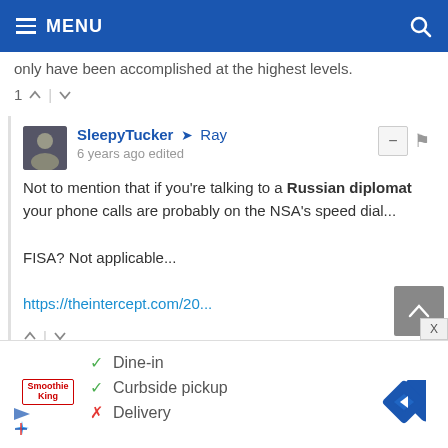MENU
only have been accomplished at the highest levels.
1 ↑ | ↓
SleepyTucker → Ray
6 years ago edited
Not to mention that if you're talking to a Russian diplomat your phone calls are probably on the NSA's speed dial...

FISA? Not applicable...

https://theintercept.com/20...
This comment was deleted.
[Figure (infographic): Advertisement showing Smoothie King logo with checkmarks for Dine-in and Curbside pickup, X for Delivery, and a navigation arrow icon]